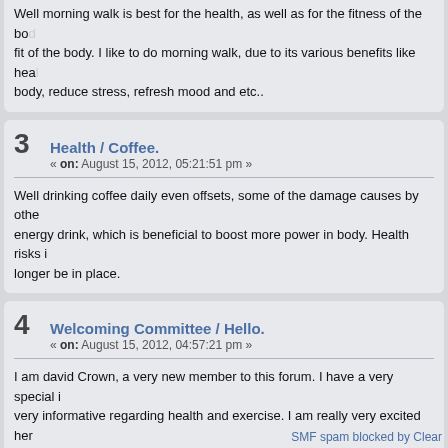Well morning walk is best for the health, as well as for the fitness of the body. fit of the body. I like to do morning walk, due to its various benefits like health body, reduce stress, refresh mood and etc..
3  Health / Coffee.  « on: August 15, 2012, 05:21:51 pm »
Well drinking coffee daily even offsets, some of the damage causes by other energy drink, which is beneficial to boost more power in body. Health risks i longer be in place.
4  Welcoming Committee / Hello.  « on: August 15, 2012, 04:57:21 pm »
I am david Crown, a very new member to this forum. I have a very special i very informative regarding health and exercise. I am really very excited here contribute your ideas and co-operate with me.
Pages: [1]
SMF spam blocked by Clear